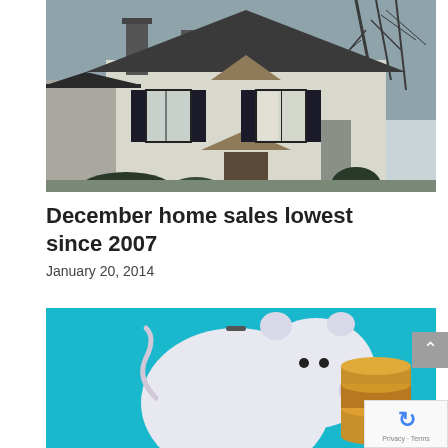[Figure (photo): Photograph of a white two-story house with black shutters, chimney, and bare winter trees in the background]
December home sales lowest since 2007
January 20, 2014
[Figure (photo): Photograph of a white ceramic piggy bank next to stacked coins on a bright turquoise/blue background]